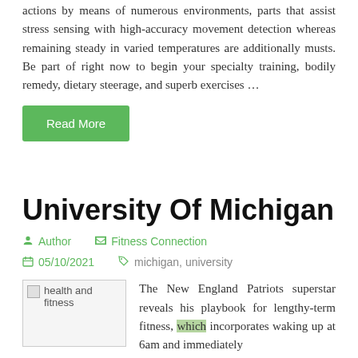actions by means of numerous environments, parts that assist stress sensing with high-accuracy movement detection whereas remaining steady in varied temperatures are additionally musts. Be part of right now to begin your specialty training, bodily remedy, dietary steerage, and superb exercises …
Read More
University Of Michigan
Author   Fitness Connection
05/10/2021   michigan, university
[Figure (photo): health and fitness image placeholder]
The New England Patriots superstar reveals his playbook for lengthy-term fitness, which incorporates waking up at 6am and immediately